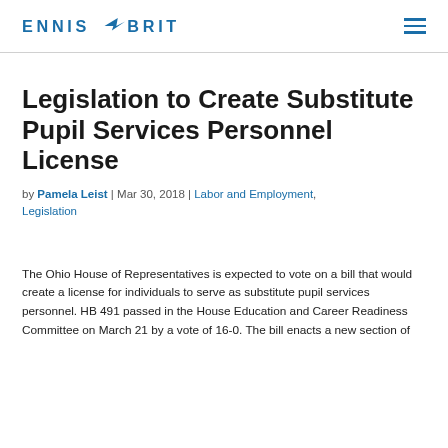ENNIS BRITTON
Legislation to Create Substitute Pupil Services Personnel License
by Pamela Leist | Mar 30, 2018 | Labor and Employment, Legislation
The Ohio House of Representatives is expected to vote on a bill that would create a license for individuals to serve as substitute pupil services personnel. HB 491 passed in the House Education and Career Readiness Committee on March 21 by a vote of 16-0. The bill enacts a new section of